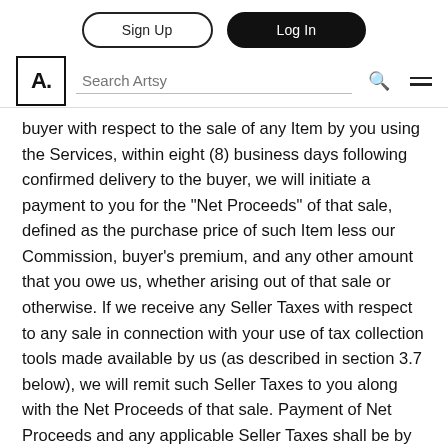Sign Up | Log In | Search Artsy
buyer with respect to the sale of any Item by you using the Services, within eight (8) business days following confirmed delivery to the buyer, we will initiate a payment to you for the "Net Proceeds" of that sale, defined as the purchase price of such Item less our Commission, buyer's premium, and any other amount that you owe us, whether arising out of that sale or otherwise. If we receive any Seller Taxes with respect to any sale in connection with your use of tax collection tools made available by us (as described in section 3.7 below), we will remit such Seller Taxes to you along with the Net Proceeds of that sale. Payment of Net Proceeds and any applicable Seller Taxes shall be by electronic funds